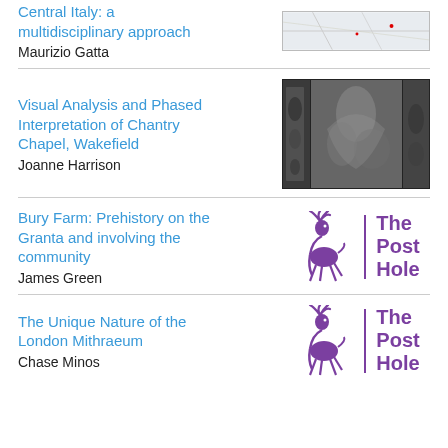Central Italy: a multidisciplinary approach
Maurizio Gatta
[Figure (map): Small map image of central Italy]
Visual Analysis and Phased Interpretation of Chantry Chapel, Wakefield
Joanne Harrison
[Figure (photo): Black and white photo of stone relief carvings from Chantry Chapel, Wakefield]
Bury Farm: Prehistory on the Granta and involving the community
James Green
[Figure (logo): The Post Hole logo with purple deer illustration and text]
The Unique Nature of the London Mithraeum
Chase Minos
[Figure (logo): The Post Hole logo with purple deer illustration and text]